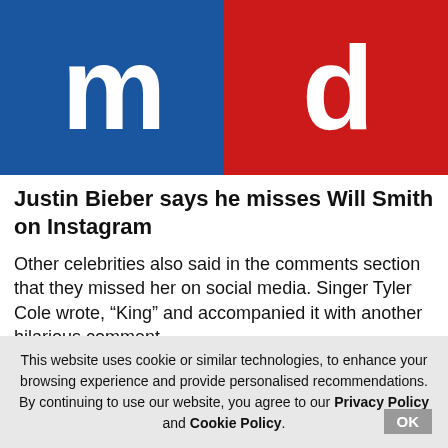[Figure (logo): m-d logo with blue left panel showing 'm' and red right panel showing 'd']
Justin Bieber says he misses Will Smith on Instagram
Other celebrities also said in the comments section that they missed her on social media. Singer Tyler Cole wrote, “King” and accompanied it with another hilarious comment
21 August,2022 11:44 AM IST | Washington | ANI
This website uses cookie or similar technologies, to enhance your browsing experience and provide personalised recommendations. By continuing to use our website, you agree to our Privacy Policy and Cookie Policy.